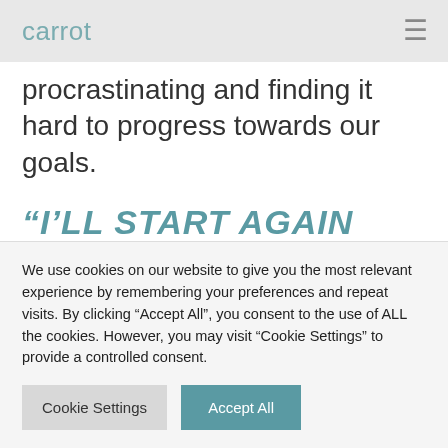carrot
procrastinating and finding it hard to progress towards our goals.
“I’LL START AGAIN TOMORROW.”
Goldsmith makes the point that for behavioural change to be successful, we
We use cookies on our website to give you the most relevant experience by remembering your preferences and repeat visits. By clicking “Accept All”, you consent to the use of ALL the cookies. However, you may visit “Cookie Settings” to provide a controlled consent.